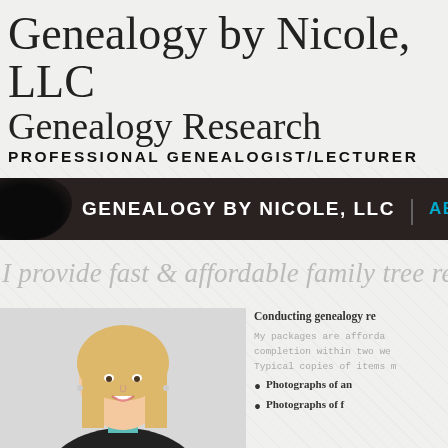Genealogy by Nicole, LLC
Genealogy Research
PROFESSIONAL GENEALOGIST/LECTURER
[Figure (screenshot): Dark navigation bar with white text 'GENEALOGY BY NICOLE, LLC' and cyan text 'ABOUT']
I provide fast & affordable family tree re...
[Figure (photo): Professional headshot of a smiling blonde woman in a dark blazer]
Conducting genealogy re...
My packages are afforda... completion within two we... Typical copies of items m...
Photographs of an...
Photographs of f...